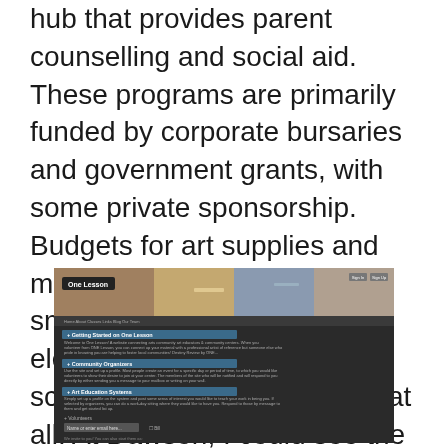hub that provides parent counselling and social aid. These programs are primarily funded by corporate bursaries and government grants, with some private sponsorship. Budgets for art supplies and materials are significantly smaller than those of most elementary and secondary schools, if any budget exists at all. At Dawson, I could see the need for relief to overworked community organizers and the injection of new fresh ideas for the arts.
[Figure (screenshot): Screenshot of the 'One Lesson' website interface showing sections for 'Getting Started on One Lesson', 'Community Organizers', 'Art Education Systems', and a 'Volunteers' form field with a 'Bill' option.]